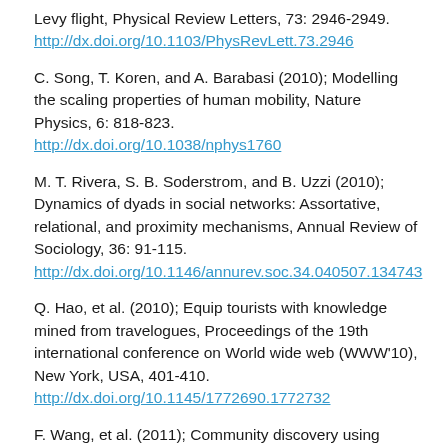Levy flight, Physical Review Letters, 73: 2946-2949. http://dx.doi.org/10.1103/PhysRevLett.73.2946
C. Song, T. Koren, and A. Barabasi (2010); Modelling the scaling properties of human mobility, Nature Physics, 6: 818-823. http://dx.doi.org/10.1038/nphys1760
M. T. Rivera, S. B. Soderstrom, and B. Uzzi (2010); Dynamics of dyads in social networks: Assortative, relational, and proximity mechanisms, Annual Review of Sociology, 36: 91-115. http://dx.doi.org/10.1146/annurev.soc.34.040507.134743
Q. Hao, et al. (2010); Equip tourists with knowledge mined from travelogues, Proceedings of the 19th international conference on World wide web (WWW'10), New York, USA, 401-410. http://dx.doi.org/10.1145/1772690.1772732
F. Wang, et al. (2011); Community discovery using...